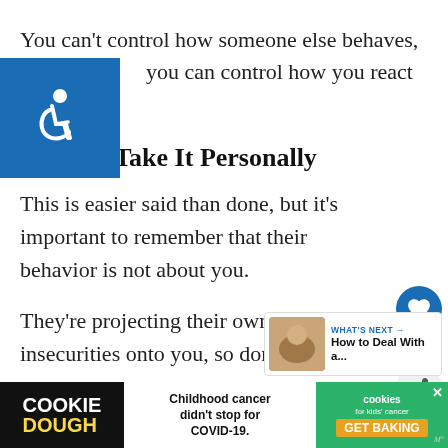You can’t control how someone else behaves, but you can control how you react to it.
[Figure (other): Blue accessibility wheelchair icon badge on left side]
3. Don’t Take It Personally
This is easier said than done, but it’s important to remember that their behavior is not about you.
They’re projecting their own issues and insecurities onto you, so don’t take it t...
Their words and actions are a reflection of them, not... bring
[Figure (other): Like (heart) button with count 1 and share button]
[Figure (other): What's Next promo: How to Deal With a...]
[Figure (other): Cookie Dough / Childhood cancer didn't stop for COVID-19 / cookies for kids cancer GET BAKING advertisement banner]